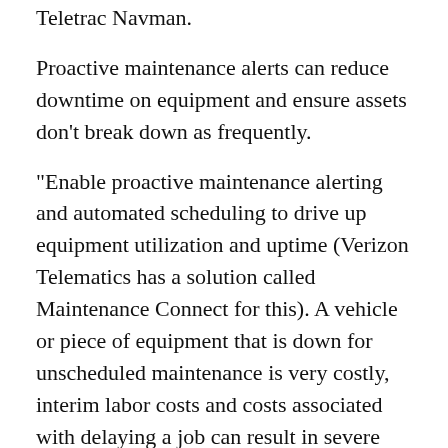Teletrac Navman.
Proactive maintenance alerts can reduce downtime on equipment and ensure assets don't break down as frequently.
"Enable proactive maintenance alerting and automated scheduling to drive up equipment utilization and uptime (Verizon Telematics has a solution called Maintenance Connect for this). A vehicle or piece of equipment that is down for unscheduled maintenance is very costly, interim labor costs and costs associated with delaying a job can result in severe delay or SLA penalties, or delayed cash flow/payments," said Frey of Verizon Telematics.
Safety is also very important in construction fleets. Using telematics to alert fleet managers to unsafe